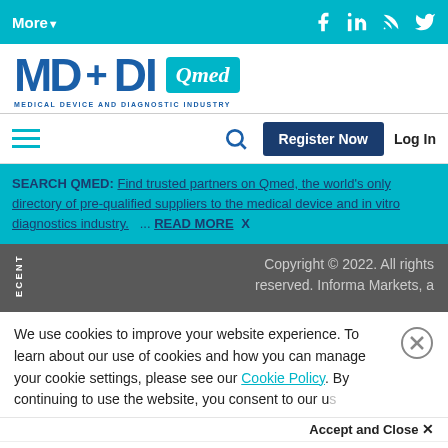More▼
[Figure (logo): MD+DI Qmed logo — Medical Device and Diagnostic Industry]
SEARCH QMED: Find trusted partners on Qmed, the world's only directory of pre-qualified suppliers to the medical device and in vitro diagnostics industry. ... READ MORE X
Copyright © 2022. All rights reserved. Informa Markets, a
We use cookies to improve your website experience. To learn about our use of cookies and how you can manage your cookie settings, please see our Cookie Policy. By continuing to use the website, you consent to our use
Accept and Close ✕
Your browser settings do not allow cross-site tracking for advertising. Click on this page to allow AdRoll to use cross-site tracking to tailor ads to you. Learn more or opt out of this AdRoll tracking by clicking here. This message only appears once.